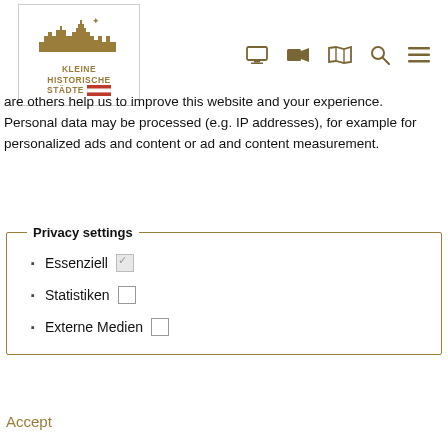[Figure (logo): Kleine Historische Städte logo — silhouette of historic city skyline with star above, text KLEINE HISTORISCHE STÄDTE with red and gold horizontal stripes, in a bordered box]
are others help us to improve this website and your experience. Personal data may be processed (e.g. IP addresses), for example for personalized ads and content or ad and content measurement.
Privacy settings
Essenziell [checked checkbox]
Statistiken [empty checkbox]
Externe Medien [empty checkbox]
Accept